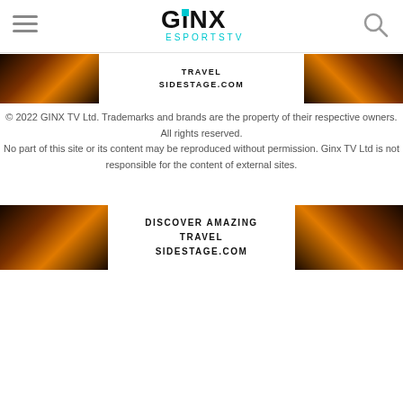GINX ESPORTS TV
[Figure (screenshot): Advertisement banner for sidestage.com travel with sunset landscape images on sides and text 'TRAVEL SIDESTAGE.COM' in center]
© 2022 GINX TV Ltd. Trademarks and brands are the property of their respective owners. All rights reserved. No part of this site or its content may be reproduced without permission. Ginx TV Ltd is not responsible for the content of external sites.
[Figure (screenshot): Advertisement banner for sidestage.com travel with sunset landscape images on sides and text 'DISCOVER AMAZING TRAVEL SIDESTAGE.COM' in center]